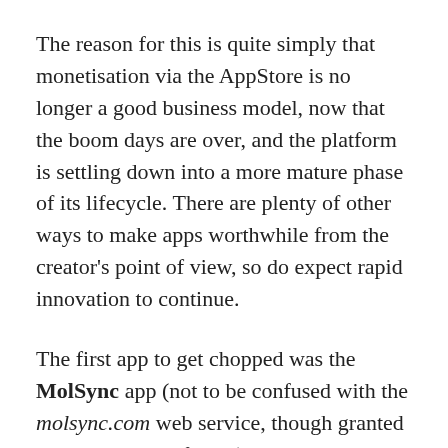The reason for this is quite simply that monetisation via the AppStore is no longer a good business model, now that the boom days are over, and the platform is settling down into a more mature phase of its lifecycle. There are plenty of other ways to make apps worthwhile from the creator's point of view, so do expect rapid innovation to continue.
The first app to get chopped was the MolSync app (not to be confused with the molsync.com web service, though granted it was pretty confusing). That app was originally created to integrate directly some of the better content with